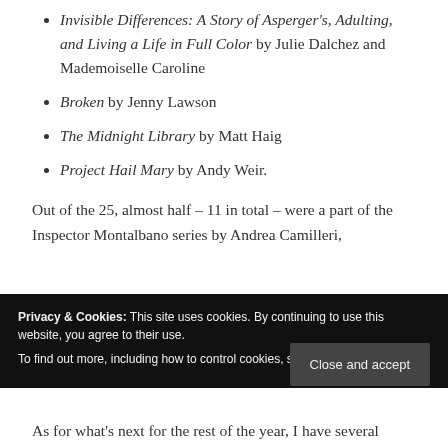Invisible Differences: A Story of Asperger's, Adulting, and Living a Life in Full Color by Julie Dalchez and Mademoiselle Caroline
Broken by Jenny Lawson
The Midnight Library by Matt Haig
Project Hail Mary by Andy Weir.
Out of the 25, almost half – 11 in total – were a part of the Inspector Montalbano series by Andrea Camilleri,
Privacy & Cookies: This site uses cookies. By continuing to use this website, you agree to their use.
To find out more, including how to control cookies, see here: Cookie Policy
As for what's next for the rest of the year, I have several